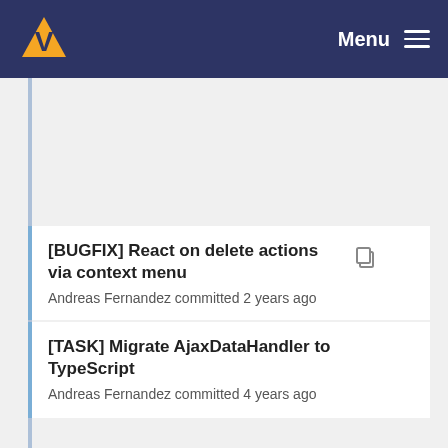Menu
[BUGFIX] React on delete actions via context menu
Andreas Fernandez committed 2 years ago
[TASK] Migrate AjaxDataHandler to TypeScript
Andreas Fernandez committed 4 years ago